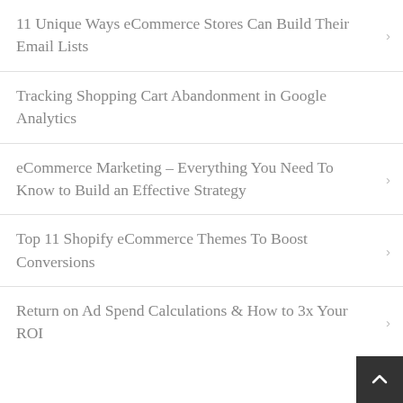11 Unique Ways eCommerce Stores Can Build Their Email Lists
Tracking Shopping Cart Abandonment in Google Analytics
eCommerce Marketing – Everything You Need To Know to Build an Effective Strategy
Top 11 Shopify eCommerce Themes To Boost Conversions
Return on Ad Spend Calculations & How to 3x Your ROI